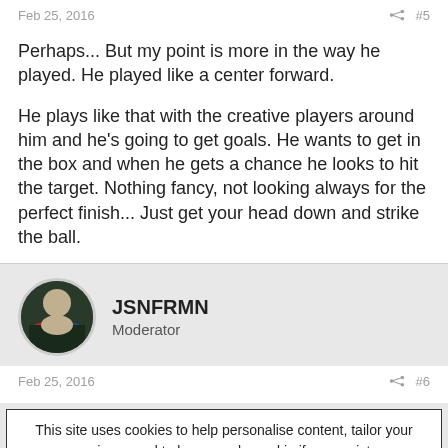Feb 25, 2016   #5
Perhaps... But my point is more in the way he played. He played like a center forward.

He plays like that with the creative players around him and he's going to get goals. He wants to get in the box and when he gets a chance he looks to hit the target. Nothing fancy, not looking always for the perfect finish... Just get your head down and strike the ball.
JSNFRMN
Moderator
Feb 25, 2016   #6
This site uses cookies to help personalise content, tailor your experience and to keep you logged in if you register.
By continuing to use this site, you are consenting to our use of cookies.